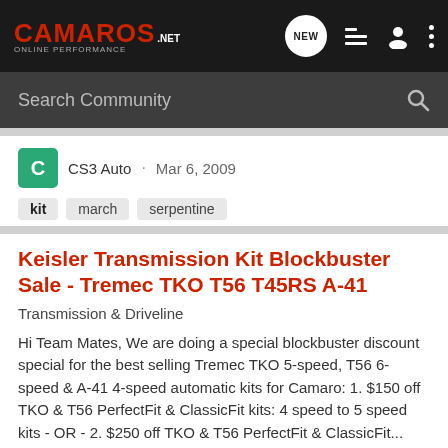CAMAROS.NET — ONLINE PERFORMANCE
Search Community
CS3 Auto · Mar 6, 2009
kit   march   serpentine
Keisler Transmission Kit Blockbuster Sale - Tremec TKO T56 T45RS A-41
Transmission & Driveline
Hi Team Mates, We are doing a special blockbuster discount special for the best selling Tremec TKO 5-speed, T56 6-speed & A-41 4-speed automatic kits for Camaro: 1. $150 off TKO & T56 PerfectFit & ClassicFit kits: 4 speed to 5 speed kits - OR - 2. $250 off TKO & T56 PerfectFit & ClassicFit...
1   3K
Keisler · Dec 13, 2009